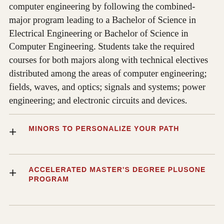computer engineering by following the combined-major program leading to a Bachelor of Science in Electrical Engineering or Bachelor of Science in Computer Engineering. Students take the required courses for both majors along with technical electives distributed among the areas of computer engineering; fields, waves, and optics; signals and systems; power engineering; and electronic circuits and devices.
MINORS TO PERSONALIZE YOUR PATH
ACCELERATED MASTER'S DEGREE PLUSONE PROGRAM